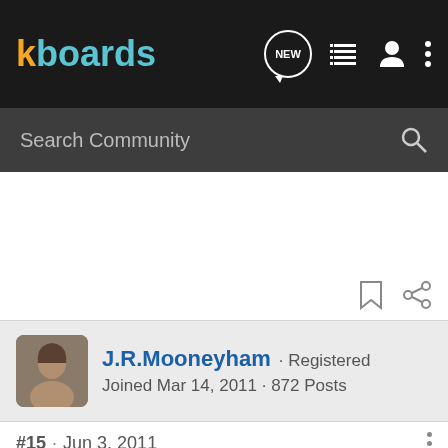kboards
Search Community
J.R.Mooneyham · Registered
Joined Mar 14, 2011 · 872 Posts
#15 · Jun 3, 2011
Jeff, there's actually at least one excellent illustrated book that's been created to instruct people on how to cut their own hair or that of others, with only a good pair of scissors and a comb. I found it listed in a Whole Earth Catalog in the 1980s, ordered it, learned, and have been cutting my hair over since with very few